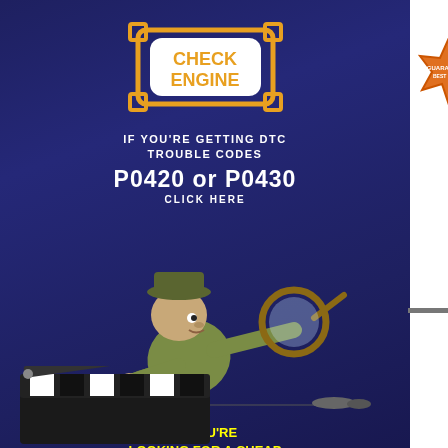[Figure (illustration): Check Engine light icon with orange flame logo and 'CHECK ENGINE' text in yellow/orange on dark background]
IF YOU'RE GETTING DTC TROUBLE CODES
P0420 or P0430
CLICK HERE
[Figure (illustration): Cartoon detective crouching with magnifying glass, looking at the ground]
IF YOU'RE LOOKING FOR A CHEAP CATALYTIC CONVERTER
CLICK HERE
If you have any questions concerning application or need technical advice concerning your vehicle please give us a call.
We Know Cats!
[Figure (illustration): Film clapperboard (movie slate) at bottom of left panel]
Your Cost
[Figure (illustration): Orange starburst badge/button at top right]